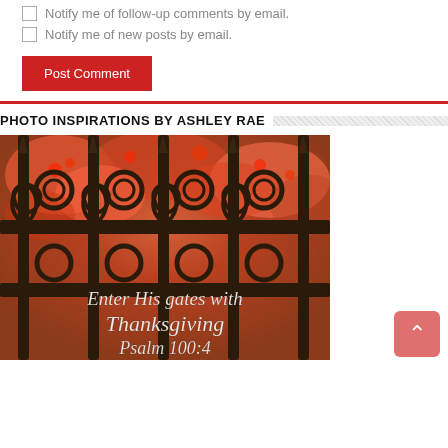Notify me of follow-up comments by email.
Notify me of new posts by email.
Post Comment
PHOTO INSPIRATIONS BY ASHLEY RAE
[Figure (photo): Decorative iron gate with scrollwork, autumn red foliage in background. Text overlay reads: Enter His gates with Thanksgiving Psalm 100:4]